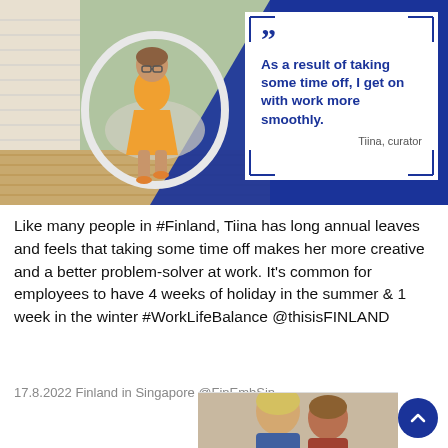[Figure (photo): Social media post from Finland in Singapore. Top half: blue background with a photo of a middle-aged woman in an orange dress sitting in a white circular hanging chair on a wooden deck. Overlaid on the right is a white quote box with a large blue quotation mark, the quote 'As a result of taking some time off, I get on with work more smoothly.' attributed to 'Tiina, curator'. Bottom half: body text about Finland work-life balance. Below: a partial photo of two people (children/people) visible at the bottom right. A dark blue circular scroll-up button is at the bottom right.]
Like many people in #Finland, Tiina has long annual leaves and feels that taking some time off makes her more creative and a better problem-solver at work. It's common for employees to have 4 weeks of holiday in the summer & 1 week in the winter #WorkLifeBalance @thisisFINLAND
17.8.2022 Finland in Singapore @FinEmbSin